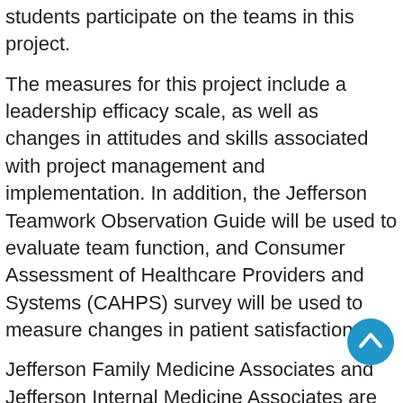students participate on the teams in this project.
The measures for this project include a leadership efficacy scale, as well as changes in attitudes and skills associated with project management and implementation. In addition, the Jefferson Teamwork Observation Guide will be used to evaluate team function, and Consumer Assessment of Healthcare Providers and Systems (CAHPS) survey will be used to measure changes in patient satisfaction.
Jefferson Family Medicine Associates and Jefferson Internal Medicine Associates are two primary care medical homes that serve a racially and economically diverse area of Philadelphia.
Intervention Study Questions: